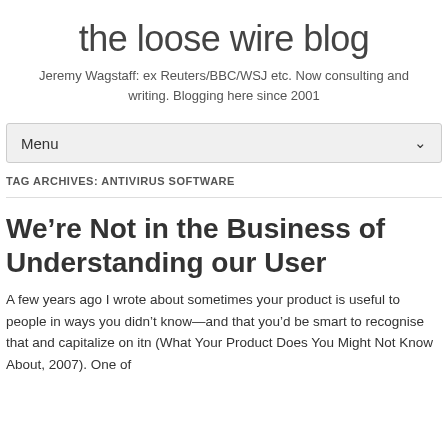the loose wire blog
Jeremy Wagstaff: ex Reuters/BBC/WSJ etc. Now consulting and writing. Blogging here since 2001
Menu
TAG ARCHIVES: ANTIVIRUS SOFTWARE
We're Not in the Business of Understanding our User
A few years ago I wrote about sometimes your product is useful to people in ways you didn't know—and that you'd be smart to recognise that and capitalize on itn (What Your Product Does You Might Not Know About, 2007). One of